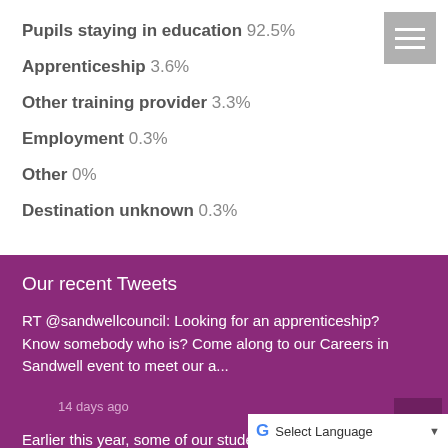Pupils staying in education 92.5%
Apprenticeship 3.6%
Other training provider 3.3%
Employment 0.3%
Other 0%
Destination unknown 0.3%
Our recent Tweets
RT @sandwellcouncil: Looking for an apprenticeship? Know somebody who is? Come along to our Careers in Sandwell event to meet our a...
14 days ago
Earlier this year, some of our students sa